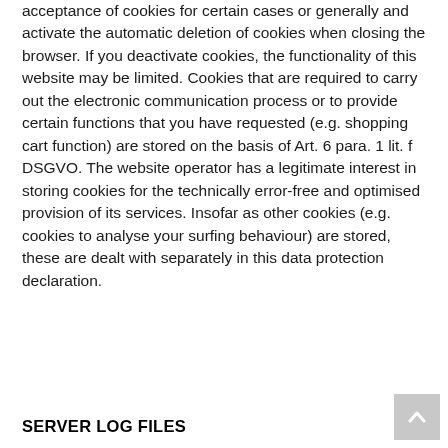acceptance of cookies for certain cases or generally and activate the automatic deletion of cookies when closing the browser. If you deactivate cookies, the functionality of this website may be limited. Cookies that are required to carry out the electronic communication process or to provide certain functions that you have requested (e.g. shopping cart function) are stored on the basis of Art. 6 para. 1 lit. f DSGVO. The website operator has a legitimate interest in storing cookies for the technically error-free and optimised provision of its services. Insofar as other cookies (e.g. cookies to analyse your surfing behaviour) are stored, these are dealt with separately in this data protection declaration.
SERVER LOG FILES